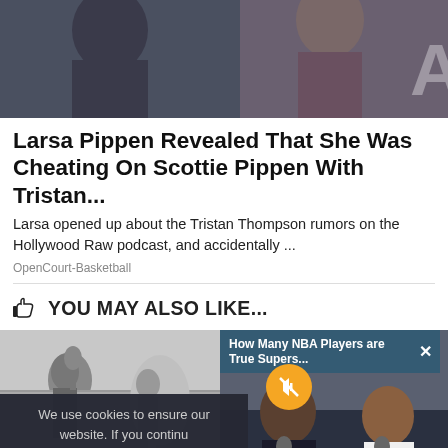[Figure (photo): Cropped photo of two people, partially visible, against a dark background with a white letter A visible on the right side]
Larsa Pippen Revealed That She Was Cheating On Scottie Pippen With Tristan...
Larsa opened up about the Tristan Thompson rumors on the Hollywood Raw podcast, and accidentally ...
OpenCourt-Basketball
YOU MAY ALSO LIKE...
[Figure (photo): Black and white photo of people outdoors]
[Figure (photo): Color photo of NBA players/podcasters in a studio setting, with a video bar overlay reading 'How Many NBA Players are True Supers...' and a mute button]
We use cookies to ensure our website. If you continu a